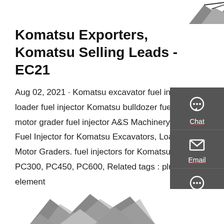[Figure (photo): Partial view of a Komatsu machine component (top, cropped) against white background]
Komatsu Exporters, Komatsu Selling Leads - EC21
Aug 02, 2021 · Komatsu excavator fuel injector Komatsu loader fuel injector Komatsu bulldozer fuel injector Komatsu motor grader fuel injector A&S Machinery Co., Ltd. supplies Fuel Injector for Komatsu Excavators, Loaders, Bulldozers, Motor Graders. fuel injectors for Komatsu excavator PC200, PC300, PC450, PC600, Related tags : plungers, pump element
[Figure (infographic): Sidebar panel with Chat, Email, and Contact icons on dark grey background]
[Figure (photo): Get a quote button in red]
[Figure (photo): Partial view of a Komatsu machine/excavator component at bottom of page (cropped)]